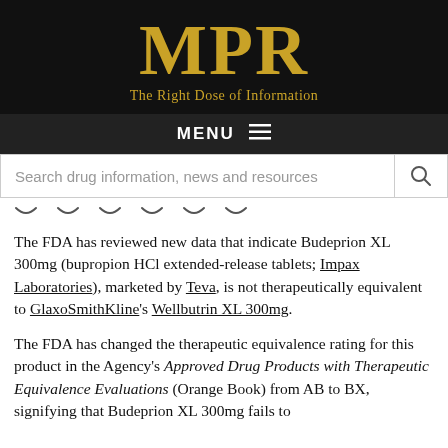MPR — The Right Dose of Information
The FDA has reviewed new data that indicate Budeprion XL 300mg (bupropion HCl extended-release tablets; Impax Laboratories), marketed by Teva, is not therapeutically equivalent to GlaxoSmithKline's Wellbutrin XL 300mg.
The FDA has changed the therapeutic equivalence rating for this product in the Agency's Approved Drug Products with Therapeutic Equivalence Evaluations (Orange Book) from AB to BX, signifying that Budeprion XL 300mg fails to